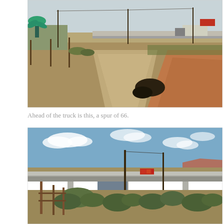[Figure (photo): Outdoor photograph of a dirt road through a flat arid desert landscape. A worn path leads toward an elevated highway in the background. Utility poles are visible. On the left are some structures and a painted palm tree mural. A steep eroded embankment is on the right side of the road. A semi truck is visible near the highway overpass in the distance. Sky is hazy blue-white.]
Ahead of the truck is this, a spur of 66.
[Figure (photo): Outdoor photograph of a highway overpass or bridge structure viewed from below and in front. Blue sky with scattered white clouds. Desert shrubs and scrubby vegetation in the foreground. Wooden fence posts visible on left. A red highway sign is visible on the bridge railing. Rocky reddish mesa visible in distant right background.]